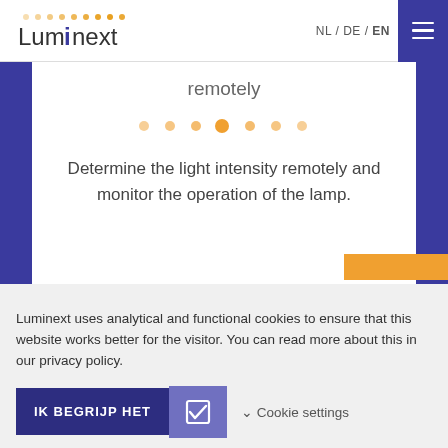[Figure (logo): Luminext company logo with dot pattern above and stylized text]
NL / DE / EN
remotely
[Figure (infographic): Pagination dots row with orange dots, the 4th dot being larger/active]
Determine the light intensity remotely and monitor the operation of the lamp.
Luminext uses analytical and functional cookies to ensure that this website works better for the visitor. You can read more about this in our privacy policy.
IK BEGRIJP HET
Cookie settings